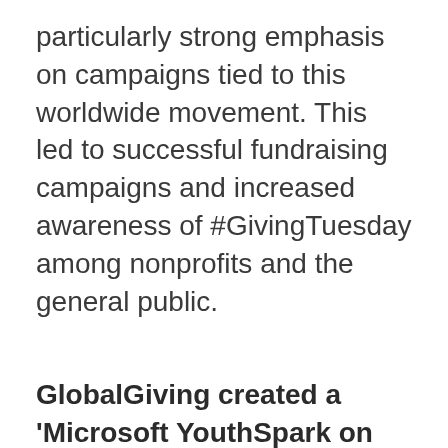particularly strong emphasis on campaigns tied to this worldwide movement. This led to successful fundraising campaigns and increased awareness of #GivingTuesday among nonprofits and the general public.
GlobalGiving created a 'Microsoft YouthSpark on GlobalGiving' sponsorship structure, including a banner for participating projects, enhancing YouthSpark's reach. Visitors to GlobalGiving.org were able to filter search results to specifically find and donate to YouthSpark-participating